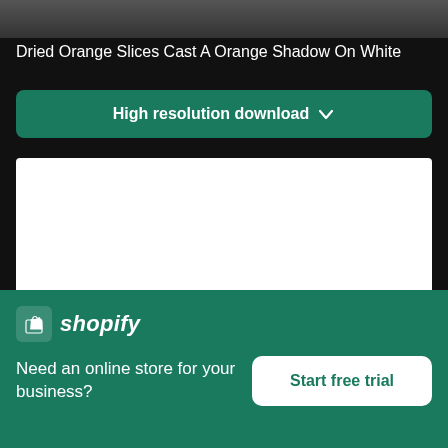[Figure (photo): Top portion of a photo, dark gray/charcoal background strip]
Dried Orange Slices Cast A Orange Shadow On White
High resolution download ↓
[Figure (photo): White rectangle representing a large white or blank image area]
[Figure (logo): Shopify logo and advertisement banner with 'Need an online store for your business?' and 'Start free trial' button]